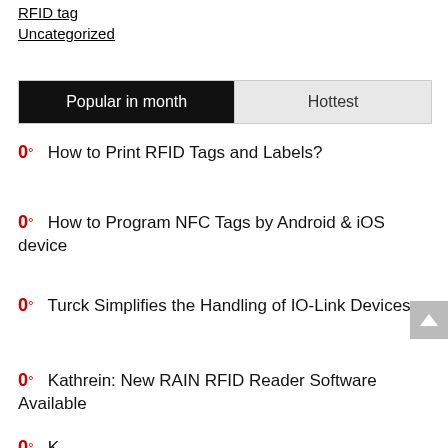RFID tag
Uncategorized
[Figure (other): Tab bar with 'Popular in month' (active, dark) and 'Hottest' (inactive, light) tabs]
0°  How to Print RFID Tags and Labels?
0°  How to Program NFC Tags by Android & iOS device
0°  Turck Simplifies the Handling of IO-Link Devices
0°  Kathrein: New RAIN RFID Reader Software Available
0°  K... (partial, cut off)